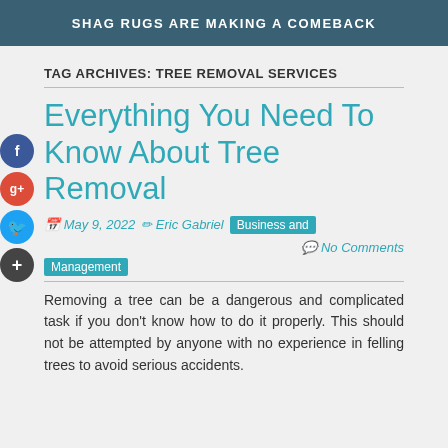SHAG RUGS ARE MAKING A COMEBACK
TAG ARCHIVES: TREE REMOVAL SERVICES
Everything You Need To Know About Tree Removal
May 9, 2022  Eric Gabriel  Business and Management  No Comments
Removing a tree can be a dangerous and complicated task if you don't know how to do it properly. This should not be attempted by anyone with no experience in felling trees to avoid serious accidents.